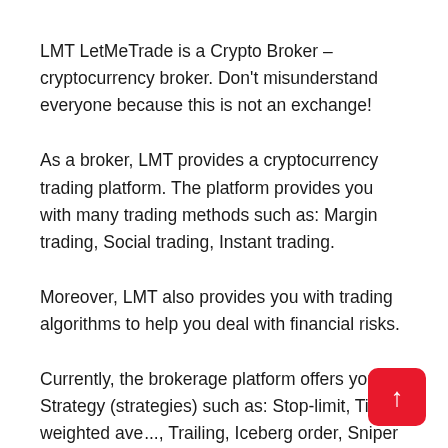LMT LetMeTrade is a Crypto Broker – cryptocurrency broker. Don't misunderstand everyone because this is not an exchange!
As a broker, LMT provides a cryptocurrency trading platform. The platform provides you with many trading methods such as: Margin trading, Social trading, Instant trading.
Moreover, LMT also provides you with trading algorithms to help you deal with financial risks.
Currently, the brokerage platform offers you 5 Strategy (strategies) such as: Stop-limit, Time-weighted av..., Trailing, Iceberg order, Sniper order.